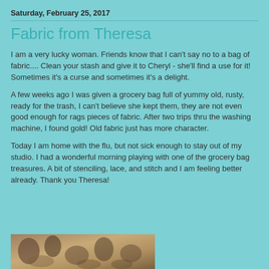Saturday, February 25, 2017
Fabric from Theresa
I am a very lucky woman.  Friends know that I can't say no to a bag of fabric....  Clean your stash and give it to Cheryl - she'll find a use for it!  Sometimes it's a curse and sometimes it's a delight.
A few weeks ago I was given a grocery bag full of yummy old, rusty, ready for the trash, I can't believe she kept them, they are not even good enough for rags pieces of fabric.  After two trips thru the washing machine, I found gold!  Old fabric just has more character.
Today I am home with the flu, but not sick enough to stay out of my studio.  I had a wonderful morning playing with one of the grocery bag treasures.  A bit of stenciling, lace, and stitch and I am feeling better already.  Thank you Theresa!
[Figure (photo): Partial photo of old fabric pieces at the bottom of the page]